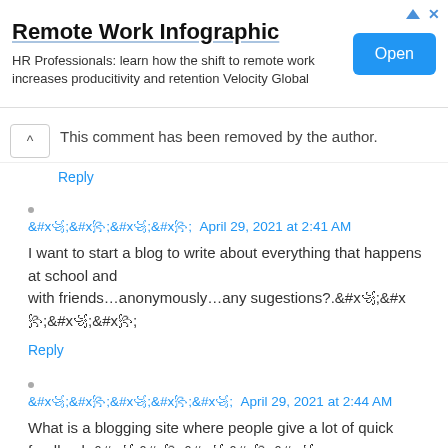[Figure (infographic): Advertisement banner for Remote Work Infographic by Velocity Global with an Open button]
This comment has been removed by the author.
Reply
꧁꧂꧁꧂  April 29, 2021 at 2:41 AM
I want to start a blog to write about everything that happens at school and with friends…anonymously…any sugestions?.꧁꧂꧁꧂
Reply
꧁꧂꧁꧂꧁  April 29, 2021 at 2:44 AM
What is a blogging site where people give a lot of quick feedback.꧁꧂꧁꧂꧁